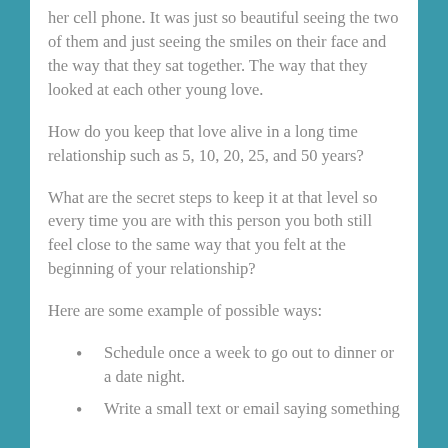her cell phone. It was just so beautiful seeing the two of them and just seeing the smiles on their face and the way that they sat together. The way that they looked at each other young love.
How do you keep that love alive in a long time relationship such as 5, 10, 20, 25, and 50 years?
What are the secret steps to keep it at that level so every time you are with this person you both still feel close to the same way that you felt at the beginning of your relationship?
Here are some example of possible ways:
Schedule once a week to go out to dinner or a date night.
Write a small text or email saying something